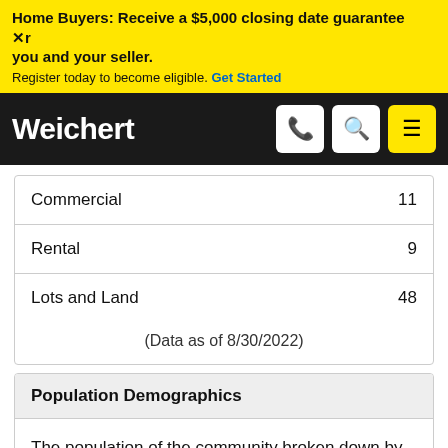Home Buyers: Receive a $5,000 closing date guarantee [X] r you and your seller. Register today to become eligible. Get Started
[Figure (logo): Weichert logo in white text on black navbar with phone, search, and menu icon buttons]
| Category | Count |
| --- | --- |
| Commercial | 11 |
| Rental | 9 |
| Lots and Land | 48 |
(Data as of 8/30/2022)
Population Demographics
The population of the community broken down by age group. The numbers at the top of each bar indicate the